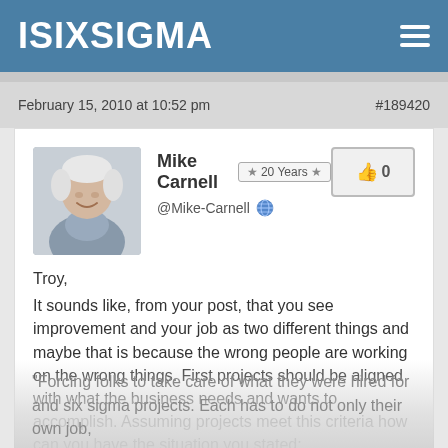ISIXSIGMA
February 15, 2010 at 10:52 pm    #189420
Mike Carnell  ★ 20 Years ★  @Mike-Carnell
Troy,
It sounds like, from your post, that you see improvement and your job as two different things and maybe that is because the wrong people are working on the wrong things. First projects should be aligned with what the business needs and wants to accomplish. Assuming projects meet this criteria how can you have the situation you stated:
"Forcing folks to take care of what they were hired for and six sigma projects. Each has to do not only their own job,